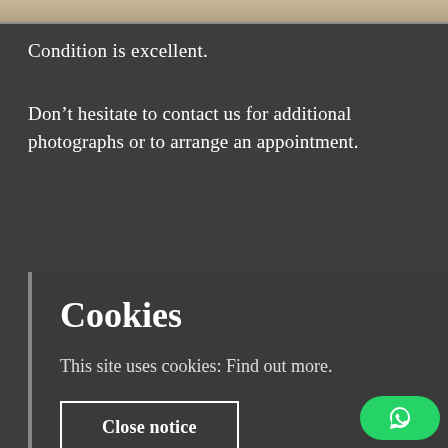[Figure (photo): Top strip showing a partial view of an artwork or antique item with brownish/beige tones]
Condition is excellent.
Don't hesitate to contact us for additional photographs or to arrange an appointment.
Cookies
This site uses cookies: Find out more.
Close notice
[Figure (photo): Partial view of an artwork or antique at bottom of page]
[Figure (other): WhatsApp contact button (green rounded button with WhatsApp icon)]